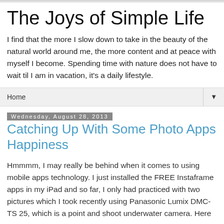The Joys of Simple Life
I find that the more I slow down to take in the beauty of the natural world around me, the more content and at peace with myself I become. Spending time with nature does not have to wait til I am in vacation, it's a daily lifestyle.
Home
Wednesday, August 28, 2013
Catching Up With Some Photo Apps Happiness
Hmmmm, I may really be behind when it comes to using mobile apps technology. I just installed the FREE Instaframe apps in my iPad and so far, I only had practiced with two pictures which I took recently using Panasonic Lumix DMC-TS 25, which is a point and shoot underwater camera. Here